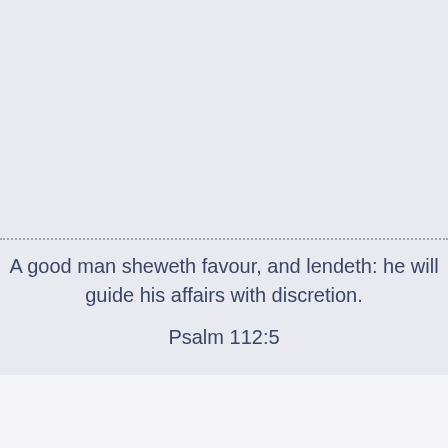A good man sheweth favour, and lendeth: he will guide his affairs with discretion.
Psalm 112:5
New to FPTFY?!